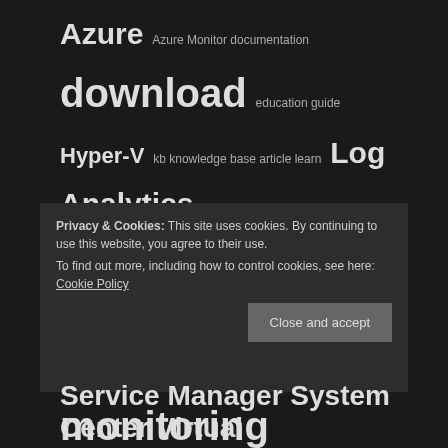[Figure (other): Tag cloud with various technology and Microsoft-related terms in different font sizes on a dark background]
Privacy & Cookies: This site uses cookies. By continuing to use this website, you agree to their use. To find out more, including how to control cookies, see here: Cookie Policy
Close and accept
Service Manager System Center Virtual